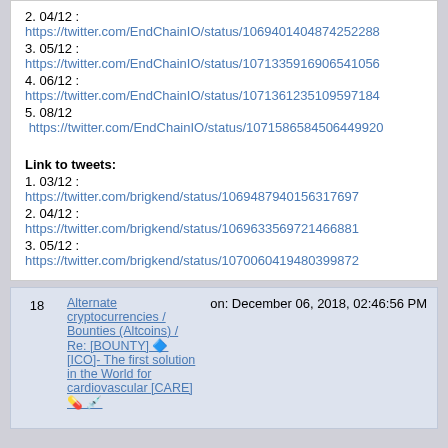2. 04/12 : https://twitter.com/EndChainIO/status/1069401404874252288
3. 05/12 : https://twitter.com/EndChainIO/status/1071335916906541056
4. 06/12 : https://twitter.com/EndChainIO/status/1071361235109597184
5. 08/12 https://twitter.com/EndChainIO/status/1071586584506449920
Link to tweets:
1. 03/12 : https://twitter.com/brigkend/status/1069487940156317697
2. 04/12 : https://twitter.com/brigkend/status/1069633569721466881
3. 05/12 : https://twitter.com/brigkend/status/1070060419480399872
| # | Subject | Date |
| --- | --- | --- |
| 18 | Alternate cryptocurrencies / Bounties (Altcoins) / Re: [BOUNTY] 🔷 [ICO]- The first solution in the World for cardiovascular [CARE] 💊 💉 | on: December 06, 2018, 02:46:56 PM |